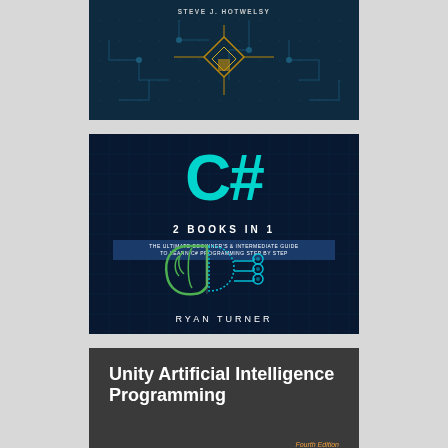[Figure (illustration): Book cover with dark blue circuit board background and author name STEVE J. HOTWELSY]
[Figure (illustration): Book cover for C# 2 Books in 1 by Ryan Turner, dark navy background with large cyan C# text, subtitle 'The Ultimate Beginner's & Intermediate Guide to Learn C# Programming Step by Step', and a brain with circuit connections illustration]
[Figure (illustration): Book cover for Unity Artificial Intelligence Programming Fourth Edition, dark gray background with white bold title text and orange bottom bar, small italic 'Fourth Edition' text in orange]